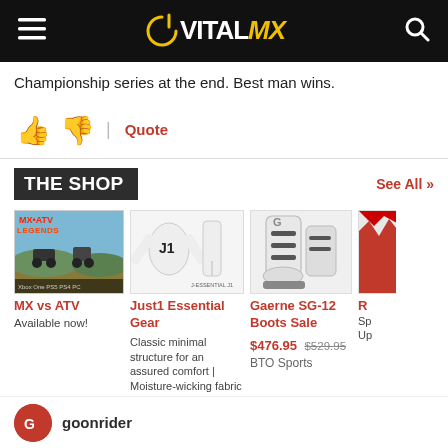VITALMX
Championship series at the end. Best man wins.
[Figure (other): Thumbs up and thumbs down icons with Quote link]
THE SHOP
See All »
[Figure (photo): MX vs ATV Legends game cover art]
MX vs ATV
Available now!
[Figure (photo): Just1 Essential Gear - white jersey and pants]
Just1 Essential Gear
Classic minimal structure for an assured comfort | Moisture-wicking fabric provides a soft, lightweight fit
[Figure (photo): Gaerne SG-12 white and grey motocross boots]
Gaerne SG-12 Boots Sale
$476.95 $529.95
BTO Sports
[Figure (photo): Partially visible red product image (cut off)]
goonrider